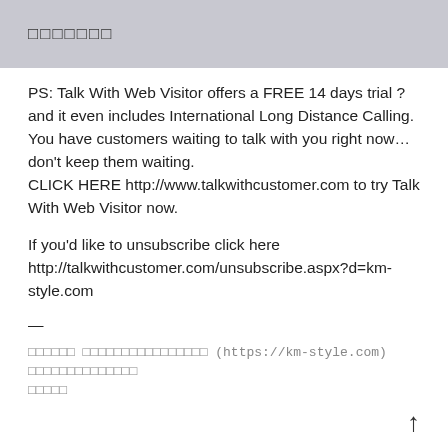□□□□□□□
PS: Talk With Web Visitor offers a FREE 14 days trial ? and it even includes International Long Distance Calling.
You have customers waiting to talk with you right now… don't keep them waiting.
CLICK HERE http://www.talkwithcustomer.com to try Talk With Web Visitor now.
If you'd like to unsubscribe click here http://talkwithcustomer.com/unsubscribe.aspx?d=km-style.com
—
□□□□□□ □□□□□□□□□□□□□□□□ (https://km-style.com) □□□□□□□□□□□□□□□□□□□□
□□□□□